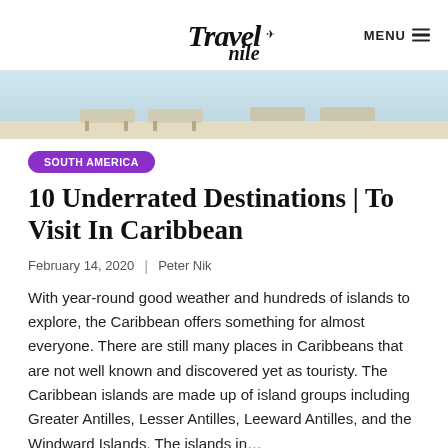Travel Nile | MENU
[Figure (photo): Beach scene with lounge chairs on sandy shore, top portion visible as hero banner image]
SOUTH AMERICA
10 Underrated Destinations | To Visit In Caribbean
February 14, 2020  |  Peter Nik
With year-round good weather and hundreds of islands to explore, the Caribbean offers something for almost everyone. There are still many places in Caribbeans that are not well known and discovered yet as touristy. The Caribbean islands are made up of island groups including Greater Antilles, Lesser Antilles, Leeward Antilles, and the Windward Islands. The islands in...